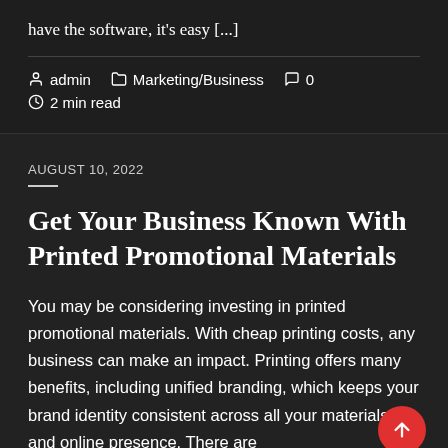have the software, it's easy [...]
admin   Marketing/Business   0   2 min read
AUGUST 10, 2022
Get Your Business Known With Printed Promotional Materials
You may be considering investing in printed promotional materials. With cheap printing costs, any business can make an impact. Printing offers many benefits, including unified branding, which keeps your brand identity consistent across all your materials and online presence. There are